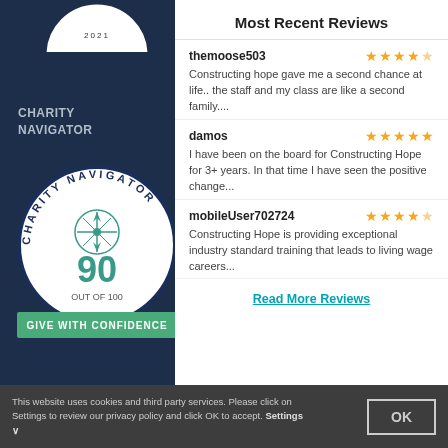[Figure (logo): Charity Navigator circular badge showing '90 OUT OF 100' with compass rose and 'GIVE WITH CONFIDENCE' green banner]
CHARITY NAVIGATOR
Most Recent Reviews
themoose503 — 4 stars
Constructing hope gave me a second chance at life.. the staff and my class are like a second family....
damos — 5 stars
I have been on the board for Constructing Hope for 3+ years. In that time I have seen the positive change...
mobileUser702724 — 4 stars
Constructing Hope is providing exceptional industry standard training that leads to living wage careers...
Read More Reviews
This website uses cookies and third party services. Please click on Settings to review our privacy policy and click OK to accept. Settings ∨
OK